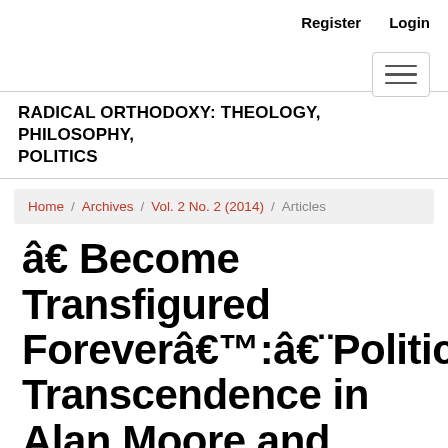Register  Login
RADICAL ORTHODOXY: THEOLOGY, PHILOSOPHY, POLITICS
Home / Archives / Vol. 2 No. 2 (2014) / Articles
â€ Become Transfigured Foreverâ€™:â€¨Political Transcendence in Alan Moore and David Lloyd's